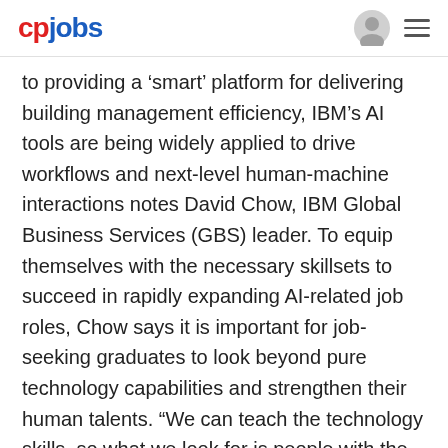cpjobs
to providing a ‘smart’ platform for delivering building management efficiency, IBM’s AI tools are being widely applied to drive workflows and next-level human-machine interactions notes David Chow, IBM Global Business Services (GBS) leader. To equip themselves with the necessary skillsets to succeed in rapidly expanding AI-related job roles, Chow says it is important for job-seeking graduates to look beyond pure technology capabilities and strengthen their human talents. “We can teach the technology skills, so what we look for is people with the right emotional attitude,” Chow says. Traits that IBM look for include a willingness to learn, free thinking and open mindedness. “Graduate’s sometime get the importance of